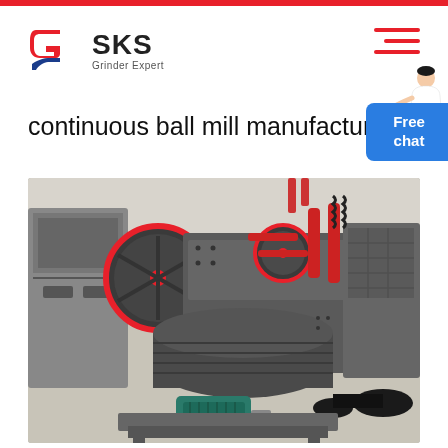SKS Grinder Expert
continuous ball mill manufacture
[Figure (photo): Industrial ball mill machinery showing large grey metal grinding equipment with red circular flywheels, red cylindrical components, a teal electric motor, and belt drives, photographed in a factory setting]